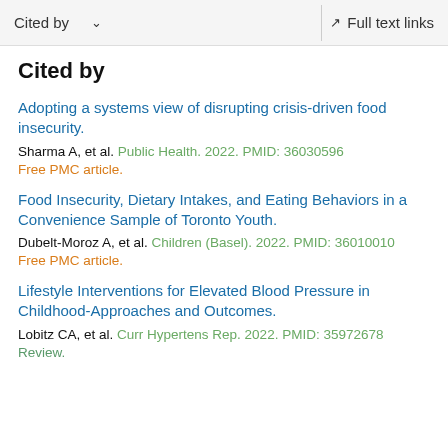Cited by   ∨   Full text links
Cited by
Adopting a systems view of disrupting crisis-driven food insecurity.
Sharma A, et al. Public Health. 2022. PMID: 36030596
Free PMC article.
Food Insecurity, Dietary Intakes, and Eating Behaviors in a Convenience Sample of Toronto Youth.
Dubelt-Moroz A, et al. Children (Basel). 2022. PMID: 36010010
Free PMC article.
Lifestyle Interventions for Elevated Blood Pressure in Childhood-Approaches and Outcomes.
Lobitz CA, et al. Curr Hypertens Rep. 2022. PMID: 35972678
Review.